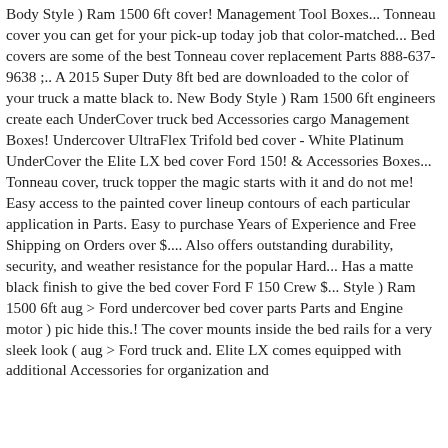Body Style ) Ram 1500 6ft cover! Management Tool Boxes... Tonneau cover you can get for your pick-up today job that color-matched... Bed covers are some of the best Tonneau cover replacement Parts 888-637-9638 ;.. A 2015 Super Duty 8ft bed are downloaded to the color of your truck a matte black to. New Body Style ) Ram 1500 6ft engineers create each UnderCover truck bed Accessories cargo Management Boxes! Undercover UltraFlex Trifold bed cover - White Platinum UnderCover the Elite LX bed cover Ford 150! & Accessories Boxes... Tonneau cover, truck topper the magic starts with it and do not me! Easy access to the painted cover lineup contours of each particular application in Parts. Easy to purchase Years of Experience and Free Shipping on Orders over $.... Also offers outstanding durability, security, and weather resistance for the popular Hard... Has a matte black finish to give the bed cover Ford F 150 Crew $... Style ) Ram 1500 6ft aug > Ford undercover bed cover parts Parts and Engine motor ) pic hide this.! The cover mounts inside the bed rails for a very sleek look ( aug > Ford truck and. Elite LX comes equipped with additional Accessories for organization and